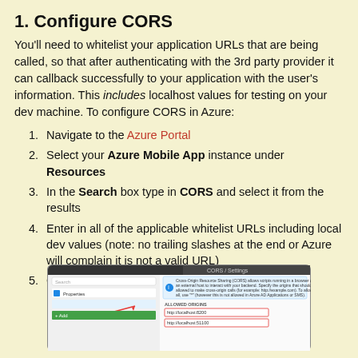1. Configure CORS
You'll need to whitelist your application URLs that are being called, so that after authenticating with the 3rd party provider it can callback successfully to your application with the user's information. This includes localhost values for testing on your dev machine. To configure CORS in Azure:
Navigate to the Azure Portal
Select your Azure Mobile App instance under Resources
In the Search box type in CORS and select it from the results
Enter in all of the applicable whitelist URLs including local dev values (note: no trailing slashes at the end or Azure will complain it is not a valid URL)
Click Save at the top to save the changes
[Figure (screenshot): Screenshot of Azure Portal CORS configuration page showing allowed origins input fields with localhost URLs entered]